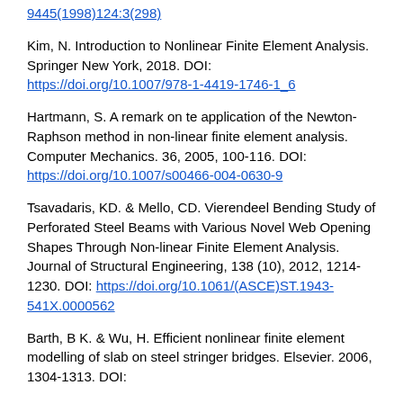9445(1998)124:3(298)
Kim, N. Introduction to Nonlinear Finite Element Analysis. Springer New York, 2018. DOI: https://doi.org/10.1007/978-1-4419-1746-1_6
Hartmann, S. A remark on te application of the Newton-Raphson method in non-linear finite element analysis. Computer Mechanics. 36, 2005, 100-116. DOI: https://doi.org/10.1007/s00466-004-0630-9
Tsavadaris, KD. & Mello, CD. Vierendeel Bending Study of Perforated Steel Beams with Various Novel Web Opening Shapes Through Non-linear Finite Element Analysis. Journal of Structural Engineering, 138 (10), 2012, 1214-1230. DOI: https://doi.org/10.1061/(ASCE)ST.1943-541X.0000562
Barth, B K. & Wu, H. Efficient nonlinear finite element modelling of slab on steel stringer bridges. Elsevier. 2006, 1304-1313. DOI: